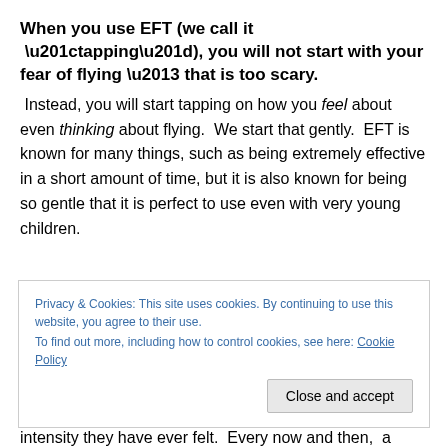When you use EFT (we call it “tapping”), you will not start with your fear of flying – that is too scary.
Instead, you will start tapping on how you feel about even thinking about flying. We start that gently. EFT is known for many things, such as being extremely effective in a short amount of time, but it is also known for being so gentle that it is perfect to use even with very young children.
Privacy & Cookies: This site uses cookies. By continuing to use this website, you agree to their use.
To find out more, including how to control cookies, see here: Cookie Policy
Close and accept
intensity they have ever felt.  Every now and then, a client